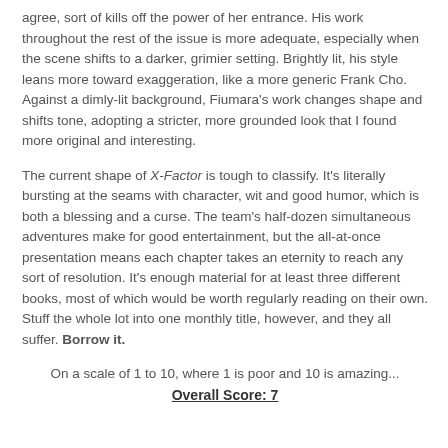agree, sort of kills off the power of her entrance. His work throughout the rest of the issue is more adequate, especially when the scene shifts to a darker, grimier setting. Brightly lit, his style leans more toward exaggeration, like a more generic Frank Cho. Against a dimly-lit background, Fiumara's work changes shape and shifts tone, adopting a stricter, more grounded look that I found more original and interesting.
The current shape of X-Factor is tough to classify. It's literally bursting at the seams with character, wit and good humor, which is both a blessing and a curse. The team's half-dozen simultaneous adventures make for good entertainment, but the all-at-once presentation means each chapter takes an eternity to reach any sort of resolution. It's enough material for at least three different books, most of which would be worth regularly reading on their own. Stuff the whole lot into one monthly title, however, and they all suffer. Borrow it.
On a scale of 1 to 10, where 1 is poor and 10 is amazing... Overall Score: 7